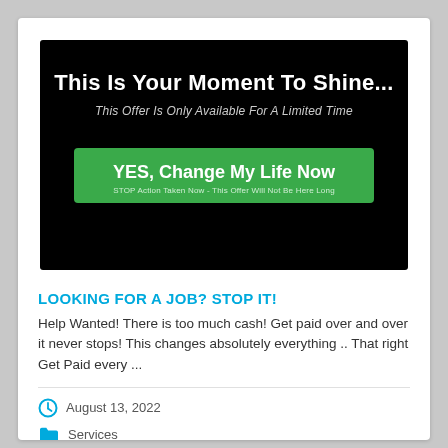[Figure (other): Advertisement banner with black background. Large white bold text reads 'This Is Your Moment To Shine...' with italic subtitle 'This Offer Is Only Available For A Limited Time'. Green button below reads 'YES, Change My Life Now' with small subtext beneath.]
LOOKING FOR A JOB? STOP IT!
Help Wanted! There is too much cash! Get paid over and over it never stops! This changes absolutely everything .. That right Get Paid every ...
August 13, 2022
Services